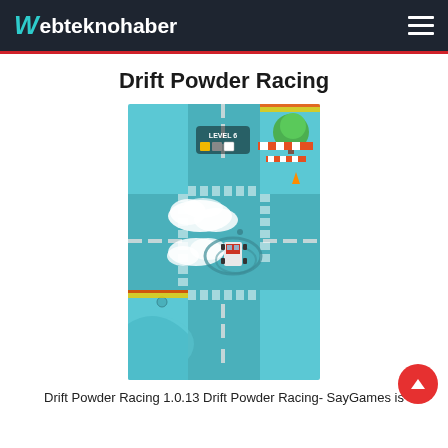webteknohaber
Drift Powder Racing
[Figure (screenshot): Drift Powder Racing mobile game screenshot showing a top-down view of a car drifting at an intersection, leaving white powder trails. The game shows LEVEL 6 indicator with colored squares. The scene has a teal/blue road with zebra crossings, a red and white barrier, a green tree, and the car doing circular drift marks.]
Drift Powder Racing 1.0.13 Drift Powder Racing- SayGames is